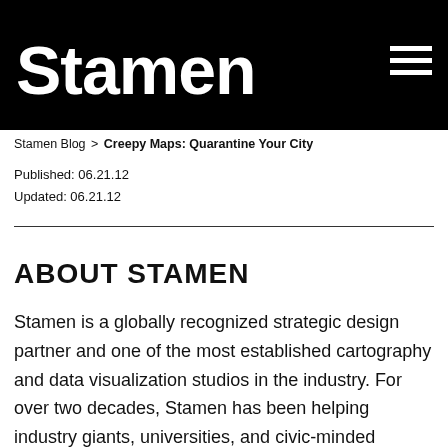Stamen
Creepy Maps: Quarantine Your City
Published: 06.21.12
Updated: 06.21.12
ABOUT STAMEN
Stamen is a globally recognized strategic design partner and one of the most established cartography and data visualization studios in the industry. For over two decades, Stamen has been helping industry giants, universities, and civic-minded organizations alike bring their ideas to life through designing and storytelling with data. We specialize in translating raw data into interactive visuals that inform, inspire and incite action. At the heart of this is our commitment to research and ensuring we